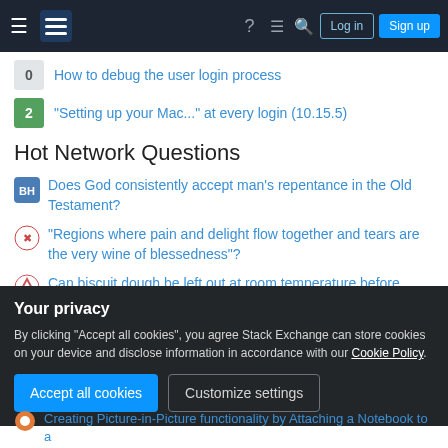Stack Exchange navigation bar with Log in and Sign up buttons
0 — How to debug the user login process
2 — "Setting up your Mac..." at every login (10.15.5)
Hot Network Questions
Does God consistently accept man's repentance in the Old Testament?
"Regions where pain and delight flow together and tears are the very wine of blessedness"?
Can biscuit dough be left out at room temperature before baking?
Why does image software typically use frames (x pixels by y pixels) instead of an infinite canvas?
Your privacy
By clicking "Accept all cookies", you agree Stack Exchange can store cookies on your device and disclose information in accordance with our Cookie Policy.
Creating Picture-in-Picture functionality by Attaching a Notebook to a